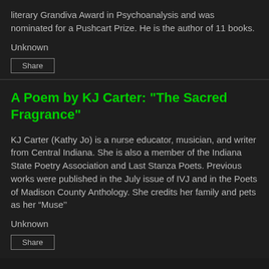literary Grandiva Award in Psychoanalysis and was nominated for a Pushcart Prize. He is the author of 11 books.
Unknown
Share
A Poem by KJ Carter: "The Sacred Fragrance"
KJ Carter (Kathy Jo) is a nurse educator, musician, and writer from Central Indiana. She is also a member of the Indiana State Poetry Association and Last Stanza Poets. Previous works were published in the July issue of IVJ and in the Poets of Madison County Anthology. She credits her family and pets as her “Muse’’
Unknown
Share